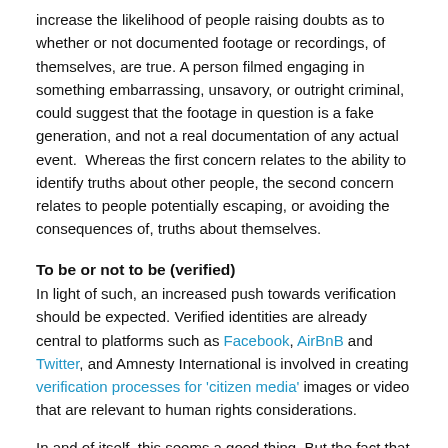increase the likelihood of people raising doubts as to whether or not documented footage or recordings, of themselves, are true. A person filmed engaging in something embarrassing, unsavory, or outright criminal, could suggest that the footage in question is a fake generation, and not a real documentation of any actual event.  Whereas the first concern relates to the ability to identify truths about other people, the second concern relates to people potentially escaping, or avoiding the consequences of, truths about themselves.
To be or not to be (verified)
In light of such, an increased push towards verification should be expected. Verified identities are already central to platforms such as Facebook, AirBnB and Twitter, and Amnesty International is involved in creating verification processes for 'citizen media' images or video that are relevant to human rights considerations.
In and of itself, this seems a good thing. But the fact that verification processes need to be organizationally controlled suggests prudence is warranted. It is not, for example, difficult to imagine one of the current tech giants coming to monopolize the world of verified interactions in both our private and public lives. As the threat of fake realities become